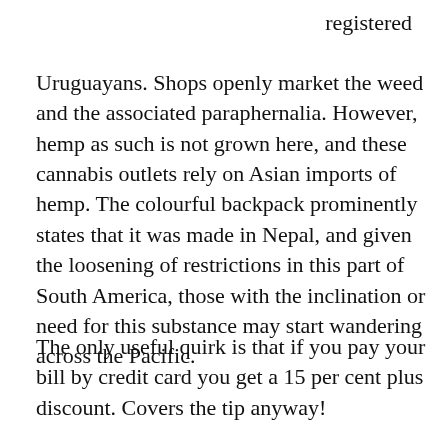registered Uruguayans. Shops openly market the weed and the associated paraphernalia. However, hemp as such is not grown here, and these cannabis outlets rely on Asian imports of hemp. The colourful backpack prominently states that it was made in Nepal, and given the loosening of restrictions in this part of South America, those with the inclination or need for this substance may start wandering across the Pacific.
The only useful quirk is that if you pay your bill by credit card you get a 15 per cent plus discount. Covers the tip anyway!